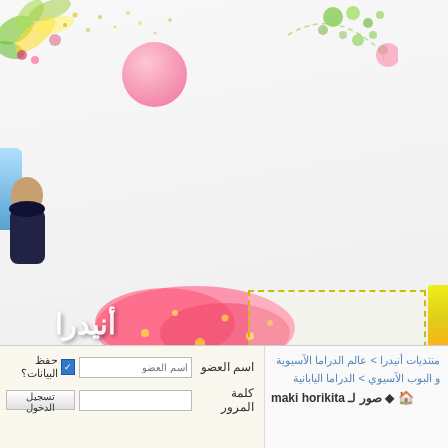[Figure (illustration): Decorative website banner with colorful design elements: pink circle, green dots, colorful corner decoration, pink splatter, Arabic stylized text, and character illustration on a light gray background]
| اسم العضو | [input field] | [checkbox] حفظ البيانات؟ |
| كلمة المرور | [input field] | [button] تسجيل الدخول |
منتديات أنيدرا < عالم الدراما الآسيوية و البوب الآسيوي < الدراما اليابانية
◆ صور لـ maki horikita